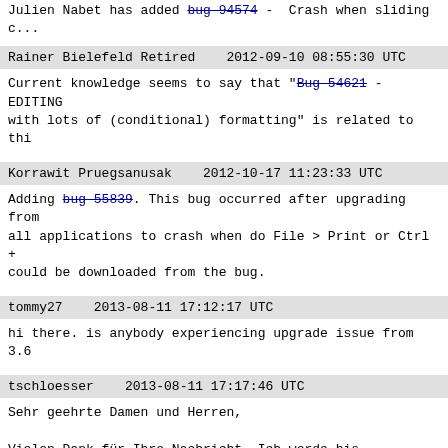Julien Nabet has added bug 94574 - Crash when sliding c...
Rainer Bielefeld Retired   2012-09-10 08:55:30 UTC
Current knowledge seems to say that "Bug 54621 - EDITING with lots of (conditional) formatting" is related to thi...
Korrawit Pruegsanusak   2012-10-17 11:23:33 UTC
Adding bug 55839. This bug occurred after upgrading from all applications to crash when do File > Print or Ctrl + could be downloaded from the bug.
tommy27   2013-08-11 17:12:17 UTC
hi there. is anybody experiencing upgrade issue from 3.6
tschloesser   2013-08-11 17:17:46 UTC
Sehr geehrte Damen und Herren,

Vielen Dank für Ihre Nachricht. Ich werde bis einschließ... Büro anwesend sein. Ab dem 02.09.2013 bin ich ab 08.30 U... erreichen. In der Zwischenzeit zögern Sie bitte nicht, u... (0)6051 – 8326-0 zu kontaktieren. Die zuständigen Kolleg... entsprechend richtige Stelle weitervermitteln.